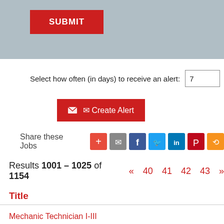[Figure (screenshot): Gray section with a red SUBMIT button]
Select how often (in days) to receive an alert: 7
[Figure (screenshot): Red Create Alert button with envelope icon]
Share these Jobs
[Figure (infographic): Social share icons: +, email, Facebook, Twitter, LinkedIn, Pinterest, RSS]
Results 1001 – 1025 of 1154
« 40 41 42 43 »
Title
Mechanic Technician I-III
Prudhoe Bay, AK, US, 99734